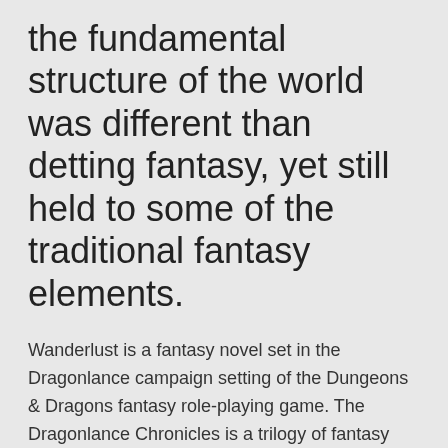the fundamental structure of the world was different than detting fantasy, yet still held to some of the traditional fantasy elements.
Wanderlust is a fantasy novel set in the Dragonlance campaign setting of the Dungeons & Dragons fantasy role-playing game. The Dragonlance Chronicles is a trilogy of fantasy novels written by Margaret Weis and Tracy Hickman, which take place in the Dragonlance setting. It uses the setting of Dragonlance, which originally was used in the Advanced Dungeons & Dragons fantasy role-playing game.